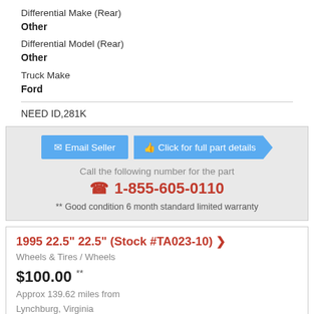Differential Make (Rear)
Other
Differential Model (Rear)
Other
Truck Make
Ford
NEED ID,281K
Email Seller
Click for full part details
Call the following number for the part
1-855-605-0110
** Good condition 6 month standard limited warranty
1995 22.5" 22.5" (Stock #TA023-10) >
Wheels & Tires / Wheels
$100.00 **
Approx 139.62 miles from Lynchburg, Virginia